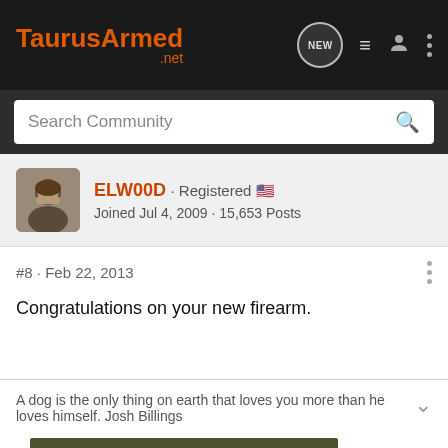TaurusArmed.net
Search Community
[Figure (photo): User avatar photo of ELW00D, a person with dark hair]
ELW00D · Registered 🇺🇸
Joined Jul 4, 2009 · 15,653 Posts
#8 · Feb 22, 2013
Congratulations on your new firearm.
A dog is the only thing on earth that loves you more than he loves himself. Josh Billings
[Figure (screenshot): Cabela's advertisement banner: RELOADING SUPPLIES - SHOP NOW]